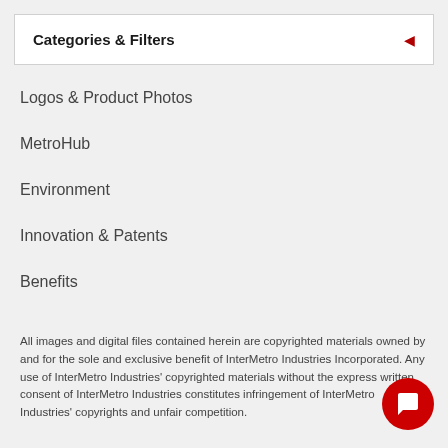Categories & Filters
Logos & Product Photos
MetroHub
Environment
Innovation & Patents
Benefits
All images and digital files contained herein are copyrighted materials owned by and for the sole and exclusive benefit of InterMetro Industries Incorporated. Any use of InterMetro Industries' copyrighted materials without the express written consent of InterMetro Industries constitutes infringement of InterMetro Industries' copyrights and unfair competition.